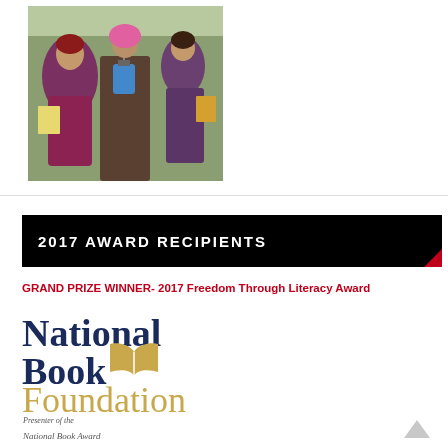[Figure (photo): Children holding books and a lantern outdoors]
2017 AWARD RECIPIENTS
GRAND PRIZE WINNER- 2017 Freedom Through Literacy Award
[Figure (logo): National Book Foundation logo - Presenter of the National Book Award]